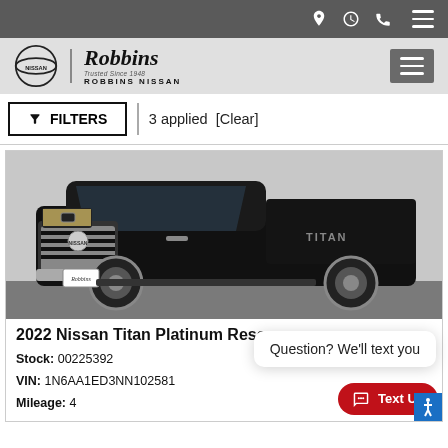Robbins Nissan dealer website header with navigation icons
FILTERS | 3 applied [Clear]
[Figure (photo): Black 2022 Nissan Titan Platinum Reserve pickup truck photographed at a dealership lot, front three-quarter view, with Robbins dealer plate.]
Question? We'll text you
2022 Nissan Titan Platinum Reserve
Stock: 00225392
VIN: 1N6AA1ED3NN102581
Mileage: 4